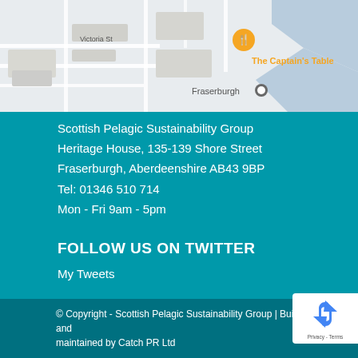[Figure (map): Google Maps screenshot showing the area around Fraserburgh, with Victoria St, The Captain's Table restaurant marker, and surrounding streets visible]
Scottish Pelagic Sustainability Group
Heritage House, 135-139 Shore Street
Fraserburgh, Aberdeenshire AB43 9BP
Tel: 01346 510 714
Mon - Fri 9am - 5pm
FOLLOW US ON TWITTER
My Tweets
© Copyright - Scottish Pelagic Sustainability Group | Built and maintained by Catch PR Ltd